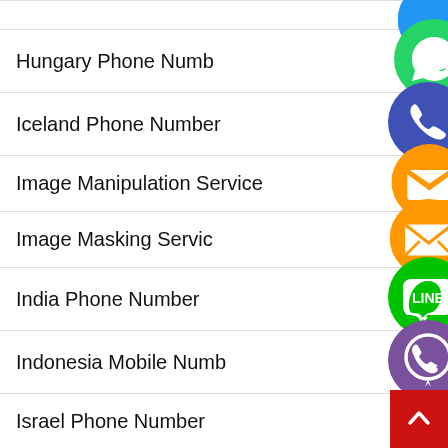Hungary Phone Number
Iceland Phone Number
Image Manipulation Service
Image Masking Service
India Phone Number
Indonesia Mobile Number
Israel Phone Number
Italy Phone Number